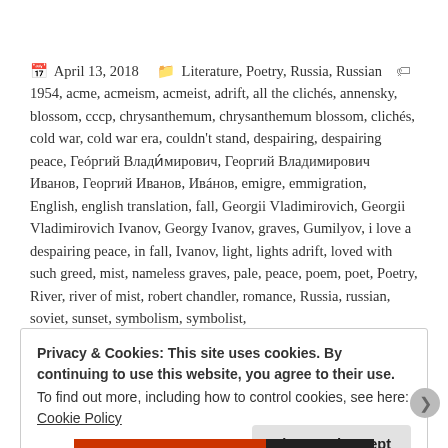📅 April 13, 2018    🗀 Literature, Poetry, Russia, Russian    🏷 1954, acme, acmeism, acmeist, adrift, all the clichés, annensky, blossom, cccp, chrysanthemum, chrysanthemum blossom, clichés, cold war, cold war era, couldn't stand, despairing, despairing peace, Геóргий Влади́мирович, Георгий Владимирович Иванов, Георгий Иванов, Ивáнов, emigre, emmigration, English, english translation, fall, Georgii Vladimirovich, Georgii Vladimirovich Ivanov, Georgy Ivanov, graves, Gumilyov, i love a despairing peace, in fall, Ivanov, light, lights adrift, loved with such greed, mist, nameless graves, pale, peace, poem, poet, Poetry, River, river of mist, robert chandler, romance, Russia, russian, soviet, sunset, symbolism, symbolist,
Privacy & Cookies: This site uses cookies. By continuing to use this website, you agree to their use.
To find out more, including how to control cookies, see here: Cookie Policy